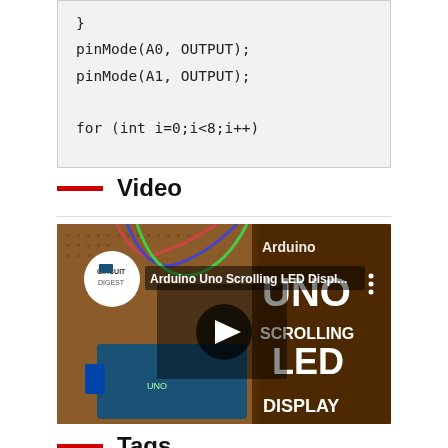}
pinMode(A0, OUTPUT);
pinMode(A1, OUTPUT);
for (int i=0;i<8;i++)
Video
[Figure (screenshot): YouTube video thumbnail showing Arduino Uno Scrolling LED Display project with Circuit Digest logo and play button overlay]
Tags
Arduino
Arduino Uno
8x8 LED Matrix